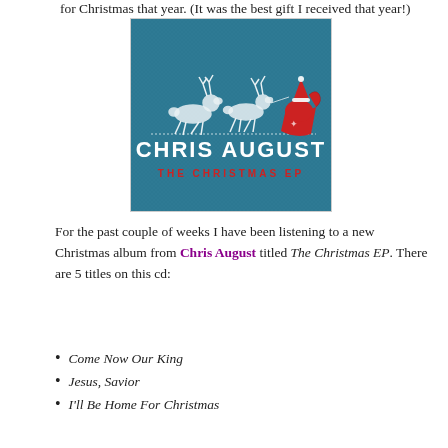for Christmas that year. (It was the best gift I received that year!)
[Figure (illustration): Album cover for Chris August 'The Christmas EP'. Dark teal/blue knitted textile background with white cross-stitch reindeer pulling a sleigh with a red Santa Claus figure. Text reads 'CHRIS AUGUST' in large white letters and 'THE CHRISTMAS EP' in smaller red text below.]
For the past couple of weeks I have been listening to a new Christmas album from Chris August titled The Christmas EP. There are 5 titles on this cd:
Come Now Our King
Jesus, Savior
I'll Be Home For Christmas